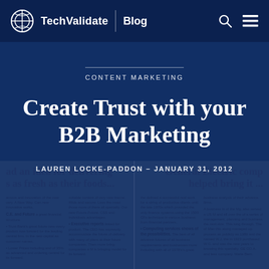TechValidate Blog
CONTENT MARKETING
Create Trust with your B2B Marketing
LAUREN LOCKE-PADDON – JANUARY 31, 2012
[Figure (screenshot): Newspaper background showing partial articles: 'had an idea for delivering as fresh as their foods...' and 'General Electric comp helped bring it...' with body text columns below]
had an idea for delivering as fresh as their foods... | General Electric comp helped bring it...